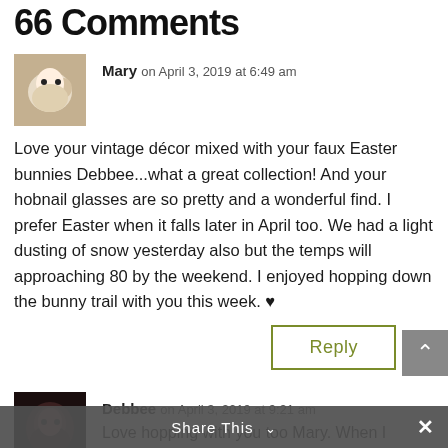66 Comments
Mary on April 3, 2019 at 6:49 am
Love your vintage décor mixed with your faux Easter bunnies Debbee...what a great collection! And your hobnail glasses are so pretty and a wonderful find. I prefer Easter when it falls later in April too. We had a light dusting of snow yesterday also but the temps will approaching 80 by the weekend. I enjoyed hopping down the bunny trail with you this week. ♥
Reply
Debbee on April 3, 2019 at 9:21 am
Love hopping with you too Mary. When I
Share This